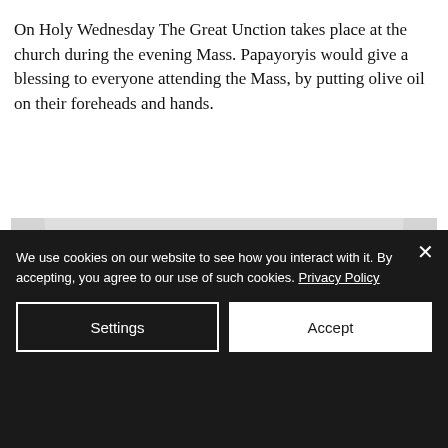On Holy Wednesday The Great Unction takes place at the church during the evening Mass. Papayoryis would give a blessing to everyone attending the Mass, by putting olive oil on their foreheads and hands.
[Figure (photo): Black and white photograph of the interior of a church, showing the nave with arched ceiling, chandeliers, and a man's head and shoulder visible in the foreground on the right side.]
We use cookies on our website to see how you interact with it. By accepting, you agree to our use of such cookies. Privacy Policy